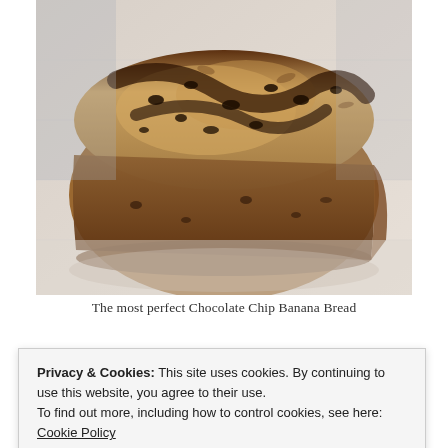[Figure (photo): A close-up photo of a slice of chocolate chip banana bread resting on a white cloth or napkin. The bread is golden-brown with visible chocolate chips and a crumbly texture on top.]
The most perfect Chocolate Chip Banana Bread
Levain has many other amazing baked goods besides
Privacy & Cookies: This site uses cookies. By continuing to use this website, you agree to their use.
To find out more, including how to control cookies, see here: Cookie Policy
Close and accept
chocolate chips, the perfect simple substitute for it all...